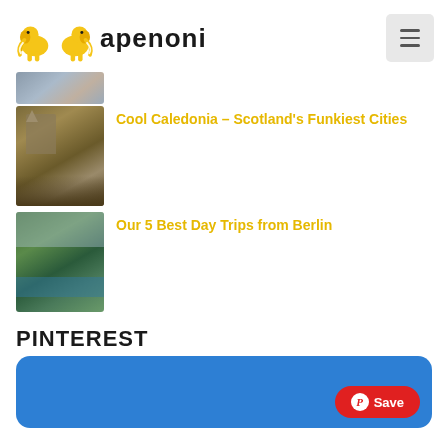APENONI
[Figure (photo): Partial thumbnail of an image at top (cropped cityscape or travel photo)]
[Figure (photo): Thumbnail of Scotland cityscape with cathedral and autumn trees]
Cool Caledonia – Scotland's Funkiest Cities
[Figure (photo): Thumbnail of Berlin lakeside park with boat and green foliage]
Our 5 Best Day Trips from Berlin
PINTEREST
[Figure (screenshot): Pinterest card with blue background and red Save button with Pinterest P icon]